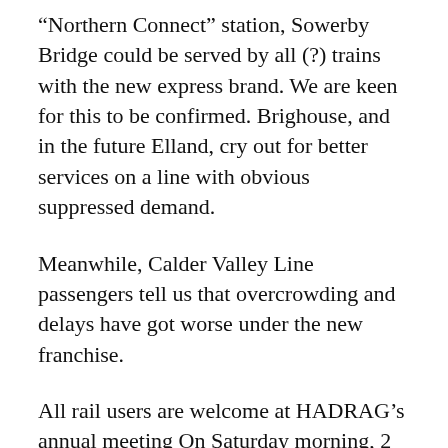“Northern Connect” station, Sowerby Bridge could be served by all (?) trains with the new express brand. We are keen for this to be confirmed. Brighouse, and in the future Elland, cry out for better services on a line with obvious suppressed demand.
Meanwhile, Calder Valley Line passengers tell us that overcrowding and delays have got worse under the new franchise.
All rail users are welcome at HADRAG’s annual meeting On Saturday morning, 2 June 2018 at St Paul’s Church, Tower Hill, Sowerby Bridge, HX6 2EQ (10 min walk from station). Doors open 10.00; speeches and discussion 10.20 till ...